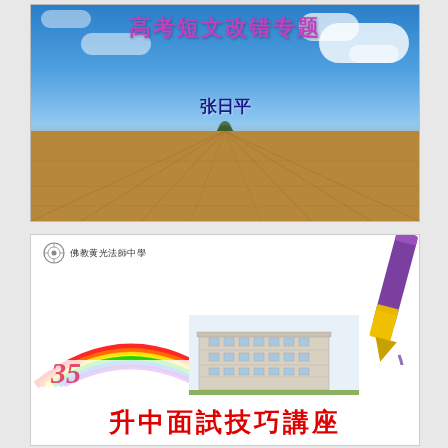[Figure (photo): A landscape photo showing a blue sky with white clouds above a ploughed brown field with perspective lines converging to a distant point. A tree silhouette stands in the center. Chinese text overlay reads: 高考短文改错专题 (author: 张日平).]
高考短文改错专题
张日平
[Figure (illustration): A promotional banner for 佛教黄光法师中学 (Buddhist Huangguang Teachers Secondary School). Features a rainbow arc, school building photo, anniversary badge '35', a purple and yellow crayon/pencil. Red Chinese text at bottom reads: 升中面試技巧講座.]
佛教黄光法師中學
升中面試技巧講座